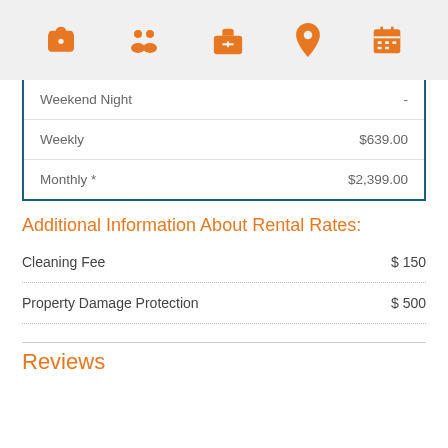[Figure (infographic): Navigation icon bar with 5 orange icons: camera, people/group, briefcase, location pin, calendar]
|  |  |
| --- | --- |
| Weekend Night | - |
| Weekly | $639.00 |
| Monthly * | $2,399.00 |
Additional Information About Rental Rates:
|  |  |
| --- | --- |
| Cleaning Fee | $ 150 |
| Property Damage Protection | $ 500 |
Reviews